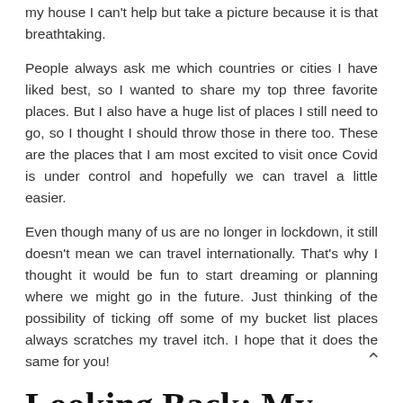my house I can't help but take a picture because it is that breathtaking.
People always ask me which countries or cities I have liked best, so I wanted to share my top three favorite places. But I also have a huge list of places I still need to go, so I thought I should throw those in there too. These are the places that I am most excited to visit once Covid is under control and hopefully we can travel a little easier.
Even though many of us are no longer in lockdown, it still doesn't mean we can travel internationally. That's why I thought it would be fun to start dreaming or planning where we might go in the future. Just thinking of the possibility of ticking off some of my bucket list places always scratches my travel itch. I hope that it does the same for you!
Looking Back: My Favourite